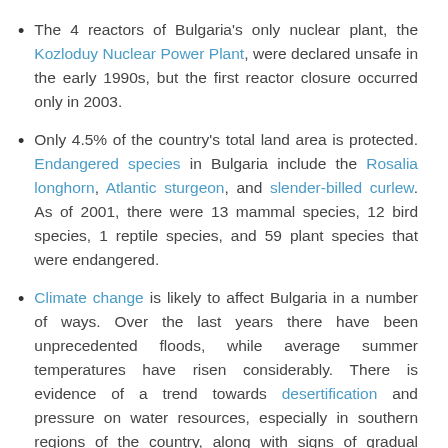The 4 reactors of Bulgaria's only nuclear plant, the Kozloduy Nuclear Power Plant, were declared unsafe in the early 1990s, but the first reactor closure occurred only in 2003.
Only 4.5% of the country's total land area is protected. Endangered species in Bulgaria include the Rosalia longhorn, Atlantic sturgeon, and slender-billed curlew. As of 2001, there were 13 mammal species, 12 bird species, 1 reptile species, and 59 plant species that were endangered.
Climate change is likely to affect Bulgaria in a number of ways. Over the last years there have been unprecedented floods, while average summer temperatures have risen considerably. There is evidence of a trend towards desertification and pressure on water resources, especially in southern regions of the country, along with signs of gradual northward migration